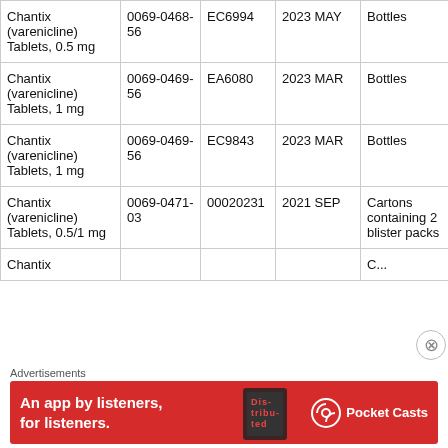| Product | NDC | Lot Number | Expiration Date | Package Type | Package Size |
| --- | --- | --- | --- | --- | --- |
| Chantix (varenicline) Tablets, 0.5 mg | 0069-0468-56 | EC6994 | 2023 MAY | Bottles | 56 tab... |
| Chantix (varenicline) Tablets, 1 mg | 0069-0469-56 | EA6080 | 2023 MAR | Bottles | 56 tab... |
| Chantix (varenicline) Tablets, 1 mg | 0069-0469-56 | EC9843 | 2023 MAR | Bottles | 56 tab... |
| Chantix (varenicline) Tablets, 0.5/1 mg | 0069-0471-03 | 00020231 | 2021 SEP | Cartons containing 2 blister packs | Carton blister tablets contai... |
[Figure (other): Pocket Casts advertisement banner: 'An app by listeners, for listeners.' with red background and Pocket Casts logo]